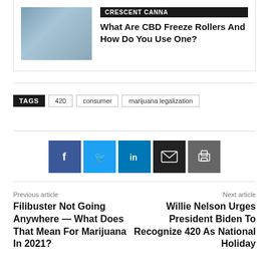[Figure (photo): Photo of a woman outdoors holding a small product, with greenery in background]
CRESCENT CANNA
What Are CBD Freeze Rollers And How Do You Use One?
TAGS  420  consumer  marijuana legalization
[Figure (other): Social sharing buttons: Facebook, Twitter, LinkedIn, Email, Print]
Previous article
Filibuster Not Going Anywhere — What Does That Mean For Marijuana In 2021?
Next article
Willie Nelson Urges President Biden To Recognize 420 As National Holiday